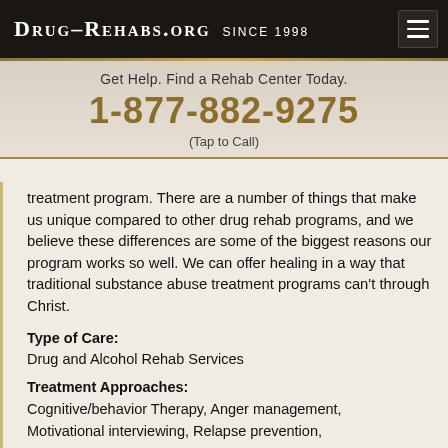Drug-Rehabs.org Since 1998
Get Help. Find a Rehab Center Today.
1-877-882-9275
(Tap to Call)
treatment program. There are a number of things that make us unique compared to other drug rehab programs, and we believe these differences are some of the biggest reasons our program works so well. We can offer healing in a way that traditional substance abuse treatment programs can't through Christ.
Type of Care:
Drug and Alcohol Rehab Services
Treatment Approaches:
Cognitive/behavior Therapy, Anger management, Motivational interviewing, Relapse prevention,